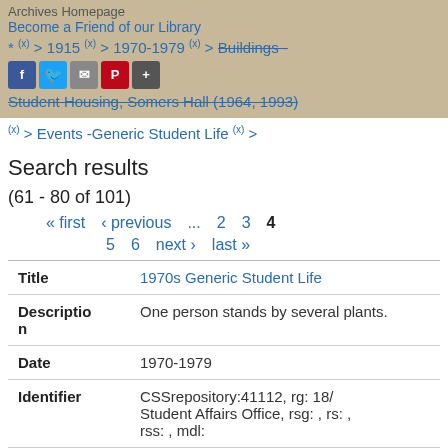Archives Homepage
Become a Friend of our Library
* (x) > 1915 (x) > 1970-1979 (x) > Buildings - Student Housing, Somers Hall (1964, 1993)
(x) > Events -Generic Student Life (x) >
Search results
(61 - 80 of 101)
« first  ‹ previous  ...  2  3  4
5  6  next ›  last »
|  |  |
| --- | --- |
| Title | 1970s Generic Student Life |
| Description | One person stands by several plants. |
| Date | 1970-1979 |
| Identifier | CSSrepository:41112, rg: 18/ Student Affairs Office, rsg: , rs: , rss: , mdl: |